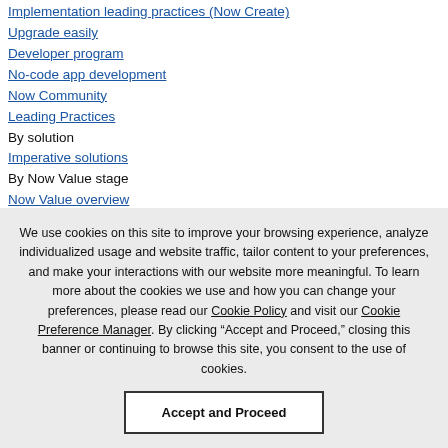Implementation leading practices (Now Create)
Upgrade easily
Developer program
No-code app development
Now Community
Leading Practices
By solution
Imperative solutions
By Now Value stage
Now Value overview
Envision value
We use cookies on this site to improve your browsing experience, analyze individualized usage and website traffic, tailor content to your preferences, and make your interactions with our website more meaningful. To learn more about the cookies we use and how you can change your preferences, please read our Cookie Policy and visit our Cookie Preference Manager. By clicking “Accept and Proceed,” closing this banner or continuing to browse this site, you consent to the use of cookies.
Accept and Proceed